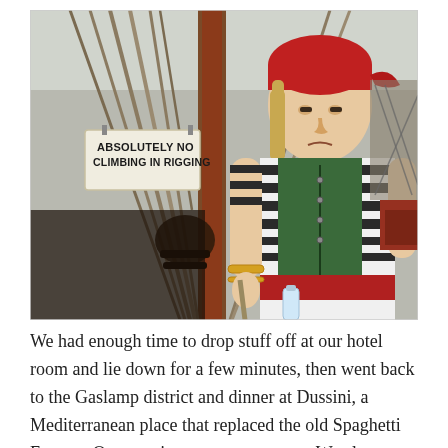[Figure (photo): A person dressed in a pirate costume (red bandana, striped shirt, green vest, red sash, gold bracelets) standing on the deck of a tall ship near rigging ropes and a mast. A sign in the background reads 'ABSOLUTELY NO CLIMBING IN RIGGING'.]
We had enough time to drop stuff off at our hotel room and lie down for a few minutes, then went back to the Gaslamp district and dinner at Dussini, a Mediterranean place that replaced the old Spaghetti Factory. Once again, a great restaurant. We also saw